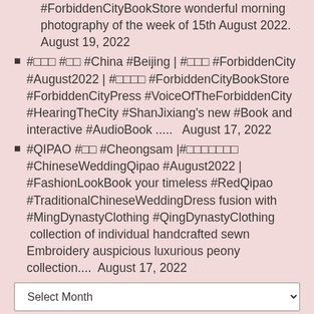#ForbiddenCityBookStore wonderful morning photography of the week of 15th August 2022.   August 19, 2022
#□□□ #□□ #China #Beijing | #□□□ #ForbiddenCity #August2022 | #□□□□ #ForbiddenCityBookStore #ForbiddenCityPress #VoiceOfTheForbiddenCity #HearingTheCity #ShanJixiang's new #Book and interactive #AudioBook .....   August 17, 2022
#QIPAO #□□ #Cheongsam |#□□□□□□□ #ChineseWeddingQipao #August2022 | #FashionLookBook your timeless #RedQipao #TraditionalChineseWeddingDress fusion with #MingDynastyClothing #QingDynastyClothing  collection of individual handcrafted sewn Embroidery auspicious luxurious peony collection....  August 17, 2022
Archives
Select Month